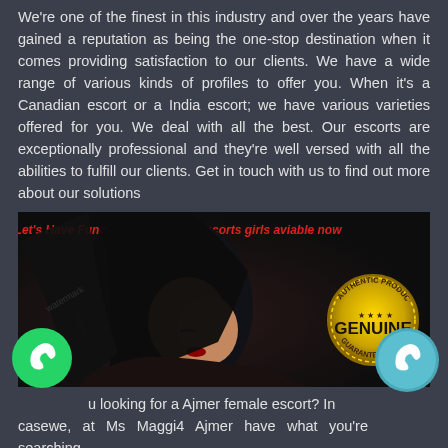We're one of the finest in this industry and over the years have gained a reputation as being the one-stop destination when it comes providing satisfaction to our clients. We have a wide range of various kinds of profiles to offer you. When it's a Canadian escort or a India escort; we have various varieties offered for you. We deal with all the best. Our escorts are exceptionally professional and they're well versed with all the abilities to fulfill our clients. Get in touch with us to find out more about our solutions
[Figure (illustration): Advertisement banner with text 'Let's Have Fun with high profile escorts girls aviable now' in red italic font, a silhouette illustration of a dark-haired woman, and a gold 'GENUINE – AUTHENTIC PRODUCT – GUARANTEE' circular badge on the right side.]
u looking for a Ajmer female escort? In casewe, at Ms Maggi4 Ajmer have what you're searching for. We have some of the very attractive profiles who'd